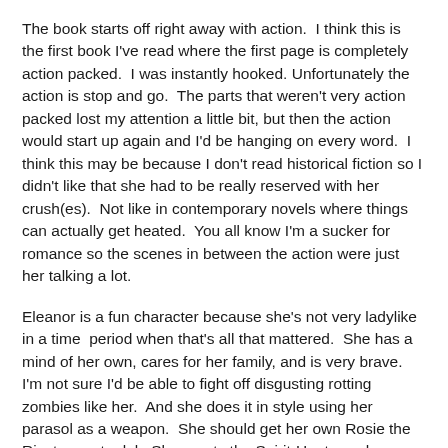The book starts off right away with action.  I think this is the first book I've read where the first page is completely action packed.  I was instantly hooked. Unfortunately the action is stop and go.  The parts that weren't very action packed lost my attention a little bit, but then the action would start up again and I'd be hanging on every word.  I think this may be because I don't read historical fiction so I didn't like that she had to be really reserved with her crush(es).  Not like in contemporary novels where things can actually get heated.  You all know I'm a sucker for romance so the scenes in between the action were just her talking a lot.
Eleanor is a fun character because she's not very ladylike in a time  period when that's all that mattered.  She has a mind of her own, cares for her family, and is very brave.  I'm not sure I'd be able to fight off disgusting rotting zombies like her.  And she does it in style using her parasol as a weapon.  She should get her own Rosie the Riveter poster lol.  She meets the Spirit-Hunters who are a very eccentric group.  Joseph was instantly like-abe and the respected leader of the pack.  Daniel is pretty cute, but when we start learning about his past it's hard to know